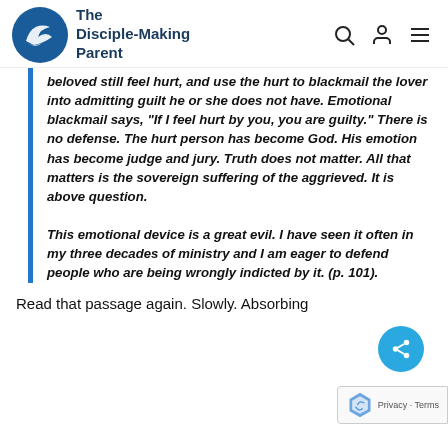The Disciple-Making Parent
beloved still feel hurt, and use the hurt to blackmail the lover into admitting guilt he or she does not have. Emotional blackmail says, “If I feel hurt by you, you are guilty.” There is no defense. The hurt person has become God. His emotion has become judge and jury. Truth does not matter. All that matters is the sovereign suffering of the aggrieved. It is above question.

This emotional device is a great evil. I have seen it often in my three decades of ministry and I am eager to defend people who are being wrongly indicted by it. (p. 101).
Read that passage again. Slowly. Absorbing